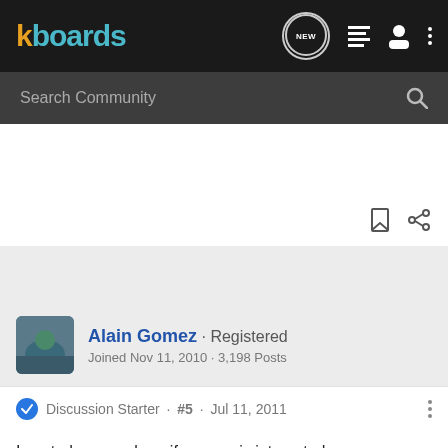kboards
Search Community
Alain Gomez · Registered
Joined Nov 11, 2010 · 3,198 Posts
Discussion Starter · #5 · Jul 11, 2011
I posted my numbers if anyone is interested:
http://bookbrouhaha.blogspot.com/2011/07/my-short-story-sales-information-to.html